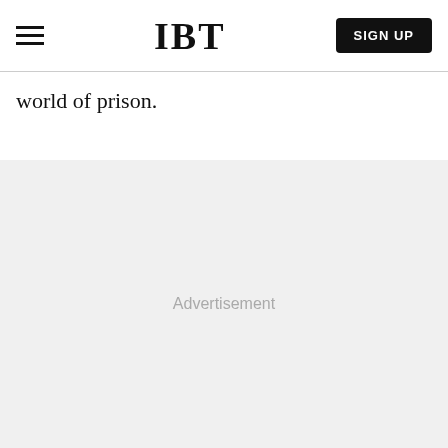IBT | SIGN UP
world of prison.
[Figure (other): Advertisement placeholder area with light gray background and 'Advertisement' text centered]